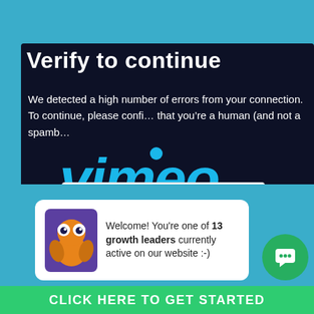Verify to continue
We detected a high number of errors from your connection. To continue, please confirm that you’re a human (and not a spamb...
[Figure (screenshot): reCAPTCHA widget with checkbox labeled 'I'm not a robot' and reCAPTCHA logo with Privacy and Terms links]
[Figure (logo): Vimeo logo in large bold italic font overlaid on dark background]
[Figure (infographic): Notification widget showing owl mascot and text: Welcome! You're one of 13 growth leaders currently active on our website :-)]
Welcome! You’re one of 13 growth leaders currently active on our website :-)
CLICK HERE TO GET STARTED